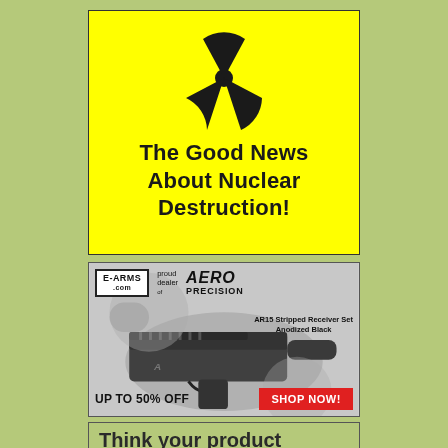[Figure (illustration): Yellow advertisement box with black radiation hazard symbol and bold text reading 'The Good News About Nuclear Destruction!']
[Figure (photo): E-ARMS.com advertisement showing AR15 Stripped Receiver Set Anodized Black, with Aero Precision branding, gun parts photo, 'UP TO 50% OFF' text and red 'SHOP NOW!' button]
Think your product